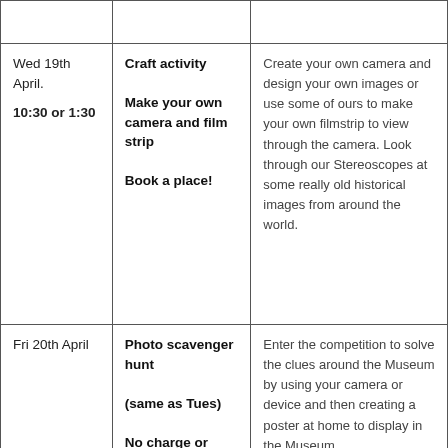|  |  |  |
| --- | --- | --- |
|  |  |  |
| Wed 19th April.

10:30 or 1:30 | Craft activity

Make your own camera and film strip

Book a place! | Create your own camera and design your own images or use some of ours to make your own filmstrip to view through the camera. Look through our Stereoscopes at some really old historical images from around the world. |
| Fri 20th April | Photo scavenger hunt

(same as Tues)

No charge or booking | Enter the competition to solve the clues around the Museum by using your camera or device and then creating a poster at home to display in the Museum |